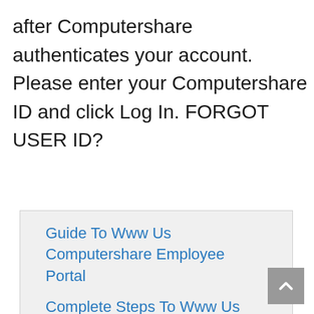after Computershare authenticates your account. Please enter your Computershare ID and click Log In. FORGOT USER ID?
Guide To Www Us Computershare Employee Portal
Complete Steps To Www Us Computershare Employee Portal
Myfortisbc Login Websites List Below?
Employee Online – Computershare
Computershare – Employee Portal
Computershare – Employee Portal
Computershare – Employee Portal